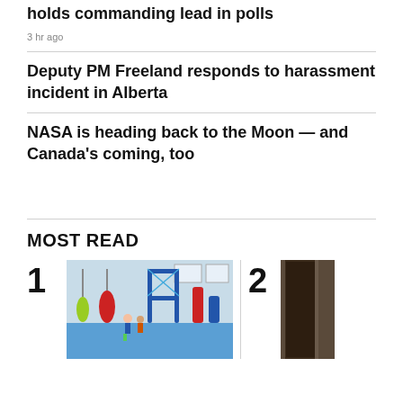holds commanding lead in polls
3 hr ago
Deputy PM Freeland responds to harassment incident in Alberta
NASA is heading back to the Moon — and Canada's coming, too
MOST READ
1
[Figure (photo): Indoor children's gym/play area with blue foam flooring, climbing structures, punching bags, and children playing]
2
[Figure (photo): Partial view of a dark door or doorframe]